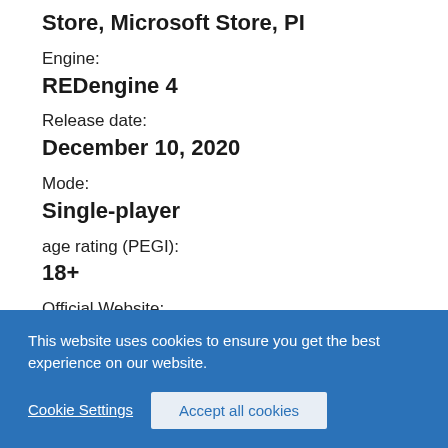Store, Microsoft Store, PI
Engine:
REDengine 4
Release date:
December 10, 2020
Mode:
Single-player
age rating (PEGI):
18+
Official Website:
Official Website
This website uses cookies to ensure you get the best experience on our website.
Cookie Settings
Accept all cookies